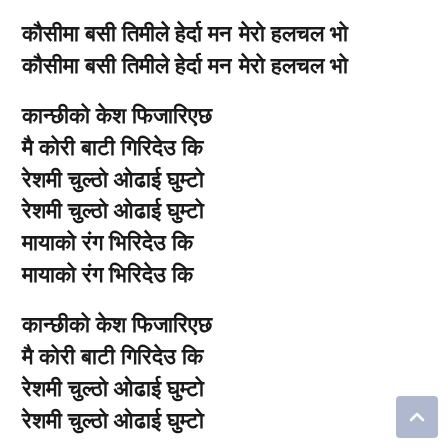कौसीमा बसी तिमीले हेर्दा मन मेरो हलचल भो
कौसीमा बसी तिमीले हेर्दा मन मेरो हलचल भो
कान्छीको केश फिजारिएछ
मै कोरी बाटी गिरिदेउ कि
रेशमी चुल्ठो ओढाई घुम्टो
रेशमी चुल्ठो ओढाई घुम्टो
मायाको रंग भिरिदेउ कि
मायाको रंग भिरिदेउ कि
कान्छीको केश फिजारिएछ
मै कोरी बाटी गिरिदेउ कि
रेशमी चुल्ठो ओढाई घुम्टो
रेशमी चुल्ठो ओढाई घुम्टो